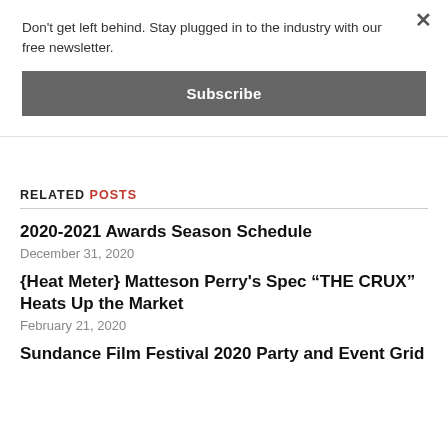Don't get left behind. Stay plugged in to the industry with our free newsletter.
Subscribe
RELATED POSTS
2020-2021 Awards Season Schedule
December 31, 2020
{Heat Meter} Matteson Perry's Spec “THE CRUX” Heats Up the Market
February 21, 2020
Sundance Film Festival 2020 Party and Event Grid